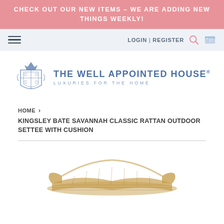CHECK OUT OUR NEW ITEMS – WE ARE ADDING NEW THINGS WEEKLY!
[Figure (screenshot): Navigation bar with hamburger menu on the left and LOGIN | REGISTER text with search and cart icons on the right, on a light blue-grey background]
[Figure (logo): The Well Appointed House logo: a blue heraldic crest on the left, with 'THE WELL APPOINTED HOUSE® LUXURIES FOR THE HOME' text in blue on the right]
HOME > KINGSLEY BATE SAVANNAH CLASSIC RATTAN OUTDOOR SETTEE WITH CUSHION
[Figure (photo): Partial view of a rattan outdoor settee, visible at the bottom of the page]